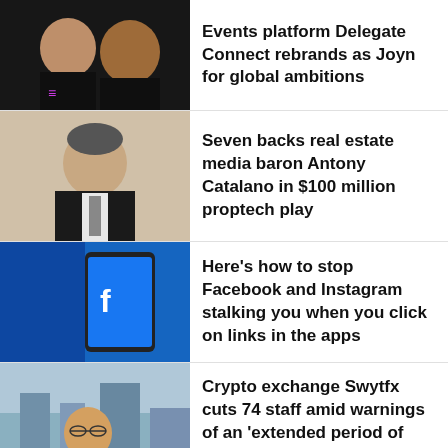Events platform Delegate Connect rebrands as Joyn for global ambitions
Seven backs real estate media baron Antony Catalano in $100 million proptech play
Here’s how to stop Facebook and Instagram stalking you when you click on links in the apps
Crypto exchange Swytfx cuts 74 staff amid warnings of an ‘extended period of economic uncertainty’
[Figure (photo): Advertisement banner: aramex delivers, with Learn more button, and partial image of person plus text 'bourne']